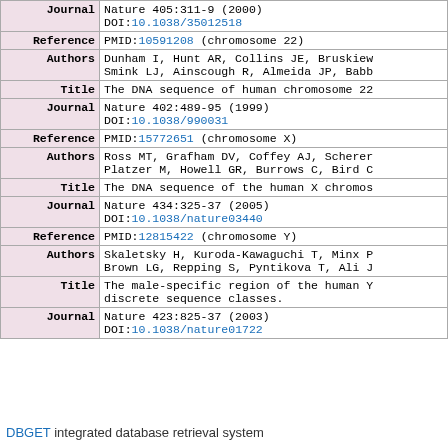| Field | Value |
| --- | --- |
| Journal | Nature 405:311-9 (2000)
DOI:10.1038/35012518 |
| Reference | PMID:10591208 (chromosome 22) |
| Authors | Dunham I, Hunt AR, Collins JE, Bruskiew...
Smink LJ, Ainscough R, Almeida JP, Babb... |
| Title | The DNA sequence of human chromosome 22 |
| Journal | Nature 402:489-95 (1999)
DOI:10.1038/990031 |
| Reference | PMID:15772651 (chromosome X) |
| Authors | Ross MT, Grafham DV, Coffey AJ, Scherer...
Platzer M, Howell GR, Burrows C, Bird C... |
| Title | The DNA sequence of the human X chromos... |
| Journal | Nature 434:325-37 (2005)
DOI:10.1038/nature03440 |
| Reference | PMID:12815422 (chromosome Y) |
| Authors | Skaletsky H, Kuroda-Kawaguchi T, Minx P...
Brown LG, Repping S, Pyntikova T, Ali J... |
| Title | The male-specific region of the human Y...
discrete sequence classes. |
| Journal | Nature 423:825-37 (2003)
DOI:10.1038/nature01722 |
DBGET integrated database retrieval system